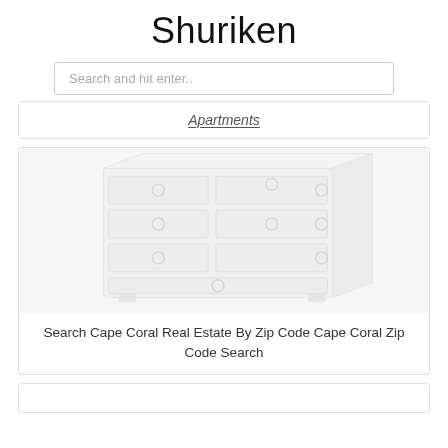Shuriken
Search and hit enter..
Apartments
[Figure (photo): A blurry/faded image of a white dresser with multiple drawers, each having circular knob handles.]
Search Cape Coral Real Estate By Zip Code Cape Coral Zip Code Search